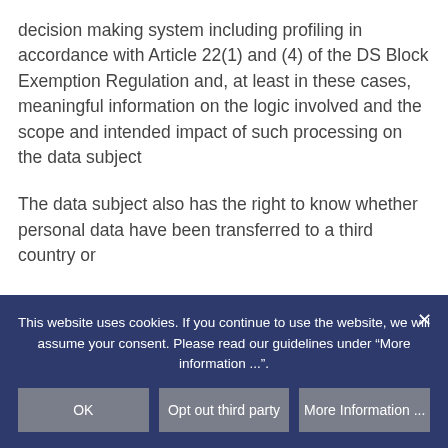decision making system including profiling in accordance with Article 22(1) and (4) of the DS Block Exemption Regulation and, at least in these cases, meaningful information on the logic involved and the scope and intended impact of such processing on the data subject
The data subject also has the right to know whether personal data have been transferred to a third country or
This website uses cookies. If you continue to use the website, we will assume your consent. Please read our guidelines under "More information ...".